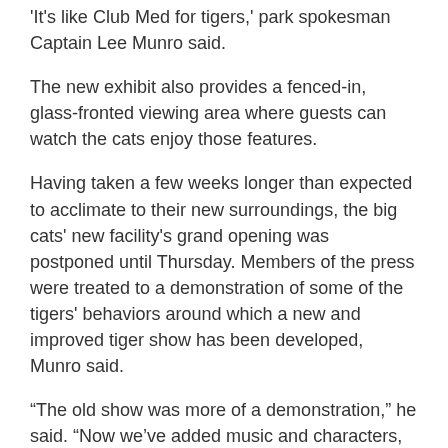'It's like Club Med for tigers,' park spokesman Captain Lee Munro said.
The new exhibit also provides a fenced-in, glass-fronted viewing area where guests can watch the cats enjoy those features.
Having taken a few weeks longer than expected to acclimate to their new surroundings, the big cats' new facility's grand opening was postponed until Thursday. Members of the press were treated to a demonstration of some of the tigers' behaviors around which a new and improved tiger show has been developed, Munro said.
“The old show was more of a demonstration,” he said. “Now we’ve added music and characters, and it’s more of an actual production.”
The new interactive show is 20 minutes long.